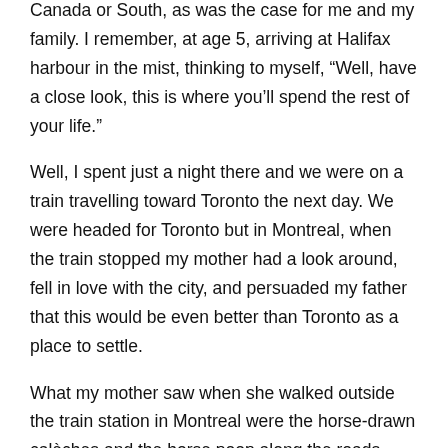Canada or South, as was the case for me and my family. I remember, at age 5, arriving at Halifax harbour in the mist, thinking to myself, “Well, have a close look, this is where you’ll spend the rest of your life.”
Well, I spent just a night there and we were on a train travelling toward Toronto the next day. We were headed for Toronto but in Montreal, when the train stopped my mother had a look around, fell in love with the city, and persuaded my father that this would be even better than Toronto as a place to settle.
What my mother saw when she walked outside the train station in Montreal were the horse-drawn calèches and the horse poop along the roads. She marvelled: